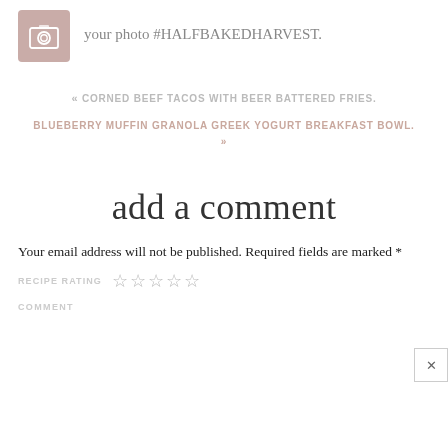[Figure (illustration): Camera icon in a rose/mauve colored rounded square box]
your photo #HALFBAKEDHARVEST.
« CORNED BEEF TACOS WITH BEER BATTERED FRIES.
BLUEBERRY MUFFIN GRANOLA GREEK YOGURT BREAKFAST BOWL. »
add a comment
Your email address will not be published. Required fields are marked *
RECIPE RATING ☆☆☆☆☆
COMMENT